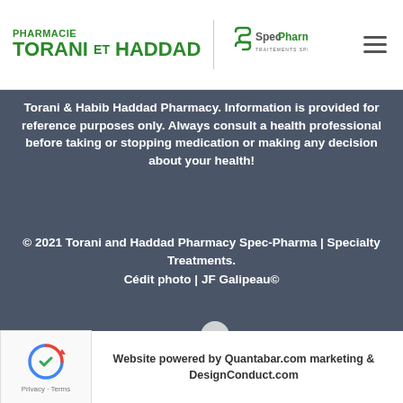PHARMACIE TORANI ET HADDAD | SpecPharma TRAITEMENTS SPÉCIALISÉS
Torani & Habib Haddad Pharmacy. Information is provided for reference purposes only. Always consult a health professional before taking or stopping medication or making any decision about your health!
© 2021 Torani and Haddad Pharmacy Spec-Pharma | Specialty Treatments.
Cédit photo | JF Galipeau©
[Figure (illustration): Two pill/tablet icons (an oval capsule and a round tablet) in light grey/white on dark background]
Website powered by Quantabar.com marketing & DesignConduct.com